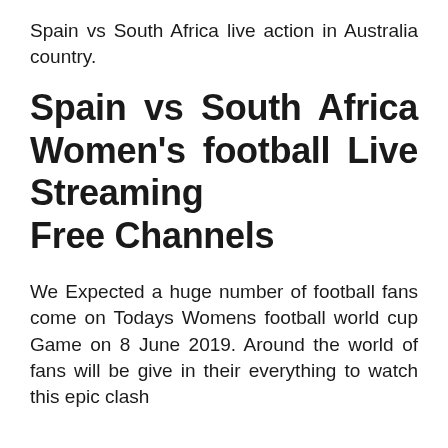Spain vs South Africa live action in Australia country.
Spain vs South Africa Women's football Live Streaming Free Channels
We Expected a huge number of football fans come on Todays Womens football world cup Game on 8 June 2019. Around the world of fans will be give in their everything to watch this epic clash